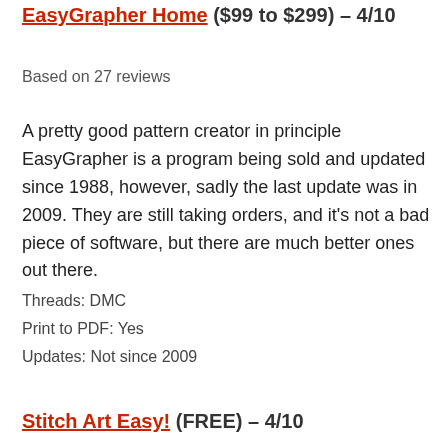EasyGrapher Home ($99 to $299) – 4/10
Based on 27 reviews
A pretty good pattern creator in principle EasyGrapher is a program being sold and updated since 1988, however, sadly the last update was in 2009. They are still taking orders, and it's not a bad piece of software, but there are much better ones out there.
Threads: DMC
Print to PDF: Yes
Updates: Not since 2009
Stitch Art Easy! (FREE) – 4/10